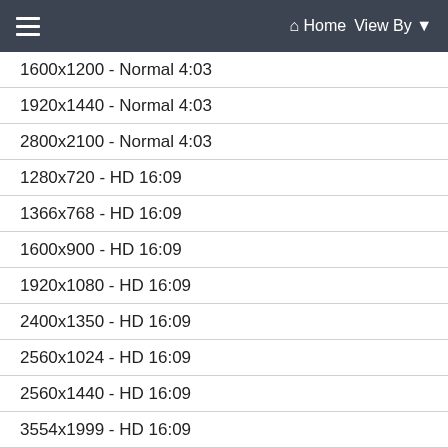☰  Home  View By ▼
1600x1200 - Normal 4:03
1920x1440 - Normal 4:03
2800x2100 - Normal 4:03
1280x720 - HD 16:09
1366x768 - HD 16:09
1600x900 - HD 16:09
1920x1080 - HD 16:09
2400x1350 - HD 16:09
2560x1024 - HD 16:09
2560x1440 - HD 16:09
3554x1999 - HD 16:09
3840x2160 - HD 16:09
1152x720 - Wide 16:10
1280x800 - Wide 16:10
1440x900 - Wide 16:10
1680x1050 - Wide 16:10
1920x1200 - Wide 16:10